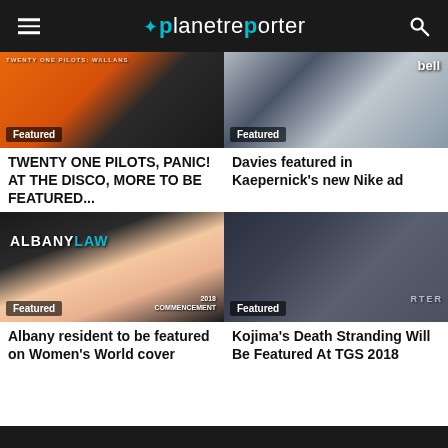planetreporter
[Figure (photo): Twenty One Pilots event image with orange backdrop, Featured badge]
TWENTY ONE PILOTS, PANIC! AT THE DISCO, MORE TO BE FEATURED...
[Figure (photo): Sports player in white jersey near Bell sign, Featured badge]
Davies featured in Kaepernick's new Nike ad
[Figure (photo): Albany Law 2018 Commencement magazine cover with blonde woman, Featured badge]
Albany resident to be featured on Women's World cover
[Figure (photo): Dark-haired man with gear from Kojima's Death Stranding game, Featured badge]
Kojima's Death Stranding Will Be Featured At TGS 2018